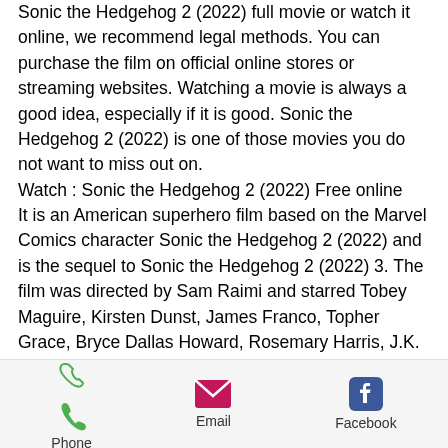Sonic the Hedgehog 2 (2022) full movie or watch it online, we recommend legal methods. You can purchase the film on official online stores or streaming websites. Watching a movie is always a good idea, especially if it is good. Sonic the Hedgehog 2 (2022) is one of those movies you do not want to miss out on.
Watch : Sonic the Hedgehog 2 (2022) Free online
It is an American superhero film based on the Marvel Comics character Sonic the Hedgehog 2 (2022) and is the sequel to Sonic the Hedgehog 2 (2022) 3. The film was directed by Sam Raimi and starred Tobey Maguire, Kirsten Dunst, James Franco, Topher Grace, Bryce Dallas Howard, Rosemary Harris, J.K. Simmons, and Cliff Robertson.
Phone | Email | Facebook